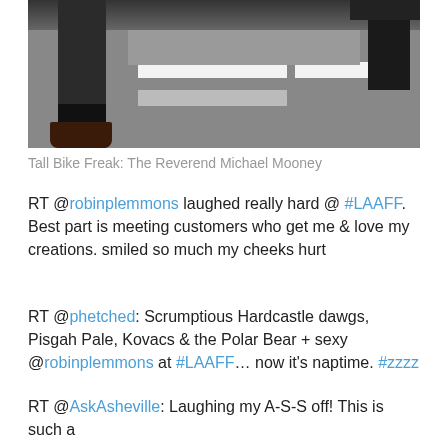[Figure (photo): Close-up photo of a person's legs/feet wearing dark pants, black socks and dark brown boots, standing on a grey asphalt road with white crosswalk stripes visible.]
Tall Bike Freak: The Reverend Michael Mooney
RT @robinplemmons laughed really hard @ #LAAFF. Best part is meeting customers who get me & love my creations. smiled so much my cheeks hurt
RT @phetched: Scrumptious Hardcastle dawgs, Pisgah Pale, Kovacs & the Polar Bear + sexy @robinplemmons at #LAAFF… now it's naptime. #zzzz
RT @AskAsheville: 12seconds – Alien dances to Woody Pines at #LAAFF in Asheville http://tiny12.tv/R2D03 #avlent
RT @AskAsheville: Laughing my A-S-S off! This is such a